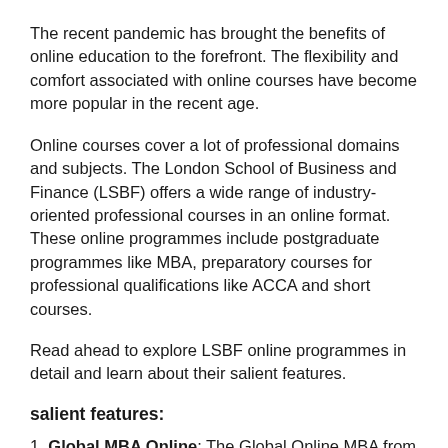The recent pandemic has brought the benefits of online education to the forefront. The flexibility and comfort associated with online courses have become more popular in the recent age.
Online courses cover a lot of professional domains and subjects. The London School of Business and Finance (LSBF) offers a wide range of industry-oriented professional courses in an online format. These online programmes include postgraduate programmes like MBA, preparatory courses for professional qualifications like ACCA and short courses.
Read ahead to explore LSBF online programmes in detail and learn about their salient features.
salient features:
1. Global MBA Online: The Global Online MBA from LSBF combines the academic concepts of business management with the practical skills required to be an industry leader in a global company. The course covers key concepts like business